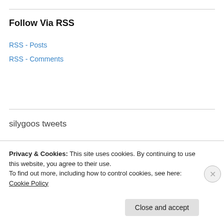Follow Via RSS
RSS - Posts
RSS - Comments
silygoos tweets
Spatzle Speaks: Angel of the L Train (Book Review)
susanbaganz.com/2022/08/12/spa... 2 weeks ago
God and Me and a Cup of Chai Tea
Privacy & Cookies: This site uses cookies. By continuing to use this website, you agree to their use.
To find out more, including how to control cookies, see here: Cookie Policy
Close and accept